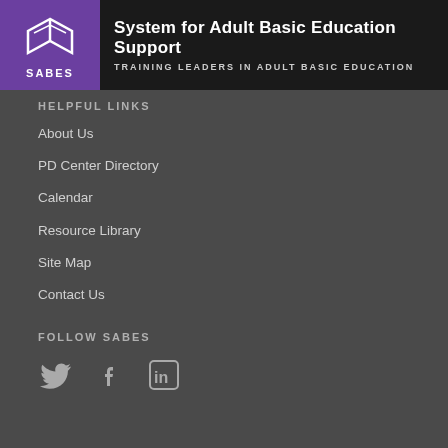[Figure (logo): SABES logo with purple background showing an open book icon and text 'SABES' below it, next to header text 'System for Adult Basic Education Support' and 'TRAINING LEADERS IN ADULT BASIC EDUCATION']
HELPFUL LINKS
About Us
PD Center Directory
Calendar
Resource Library
Site Map
Contact Us
FOLLOW SABES
[Figure (illustration): Three social media icons: Twitter bird icon, Facebook 'f' icon, and LinkedIn 'in' icon, displayed in light gray]